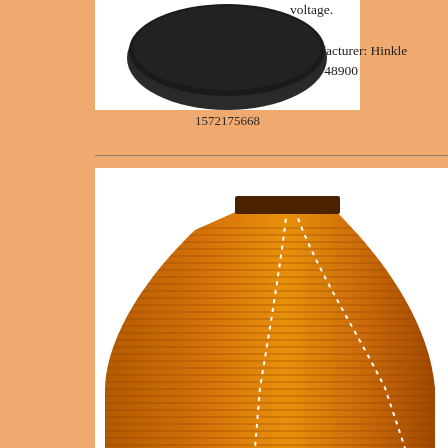[Figure (photo): Dark circular object (top view of a cap or fixture) on white background]
1572175668
voltage.

Manufacturer: Hinkle
SKU: 48900
[Figure (photo): Orange/amber flexible ribbon cable or flat cable, fanned out with white dotted lines visible, dark brown connector at top]